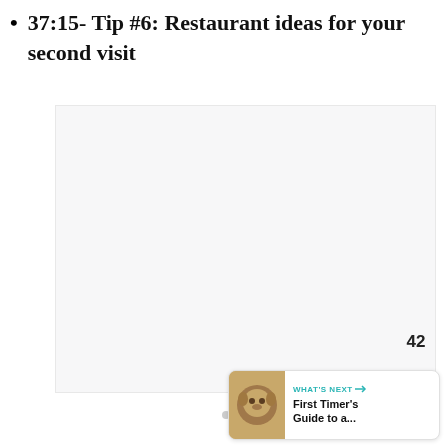37:15- Tip #6: Restaurant ideas for your second visit
[Figure (other): Large light gray placeholder content box with three small gray dots centered within it]
42
WHAT'S NEXT → First Timer's Guide to a...